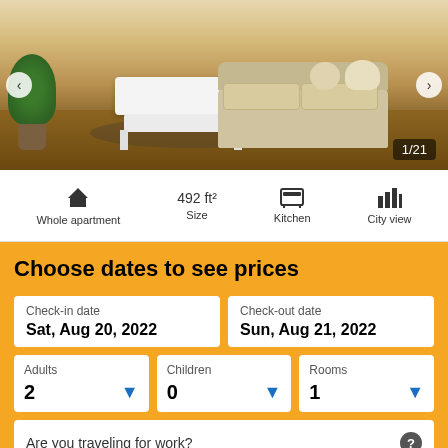[Figure (photo): Interior photo of a living room with white coffee table, beige sofa, and wood floor. Badge shows 1/21.]
Whole apartment	492 ft²	Kitchen	City view
Choose dates to see prices
Check-in date
Sat, Aug 20, 2022
Check-out date
Sun, Aug 21, 2022
Adults
2
Children
0
Rooms
1
Are you traveling for work?